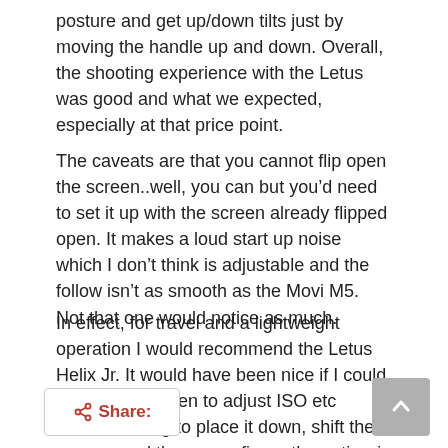posture and get up/down tilts just by moving the handle up and down. Overall, the shooting experience with the Letus was good and what we expected, especially at that price point.
The caveats are that you cannot flip open the screen..well, you can but you’d need to set it up with the screen already flipped open. It makes a loud start up noise which I don’t think is adjustable and the follow isn’t as smooth as the Movi M5. Not that one would notice as much.
In effect, for travel and a lightweight operation I would recommend the Letus Helix Jr. It would have been nice if I could flip out the screen to adjust ISO etc without having to place it down, shift the camera and then reconfigure the entire rig everytime.